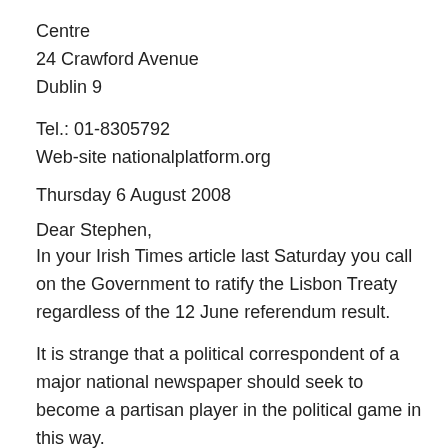Centre
24 Crawford Avenue
Dublin 9
Tel.: 01-8305792
Web-site nationalplatform.org
Thursday 6 August 2008
Dear Stephen,
In your Irish Times article last Saturday you call on the Government to ratify the Lisbon Treaty regardless of the 12 June referendum result.
It is strange that a political correspondent of a major national newspaper should seek to become a partisan player in the political game in this way.